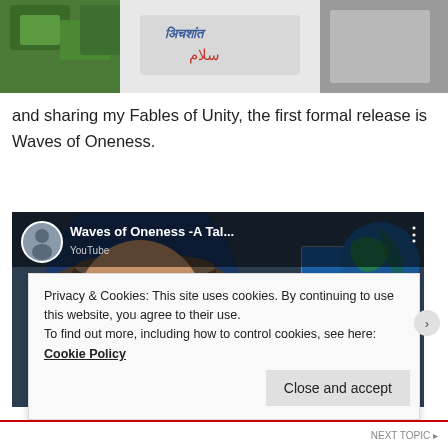[Figure (photo): Top portion of a photo showing a person wearing a white t-shirt with multilingual 'peace' text (Hindi, Arabic, Russian scripts) and a green plant/garden background]
and sharing my Fables of Unity, the first formal release is Waves of Oneness.
[Figure (screenshot): YouTube video thumbnail/embed showing a man in a blue shirt and hat holding up a book titled 'Waves of Oneness', with avatar, video title 'Waves of Oneness -A Tal...', red play button, dots menu, and 'zoom' watermark in corner]
Privacy & Cookies: This site uses cookies. By continuing to use this website, you agree to their use.
To find out more, including how to control cookies, see here: Cookie Policy
Close and accept